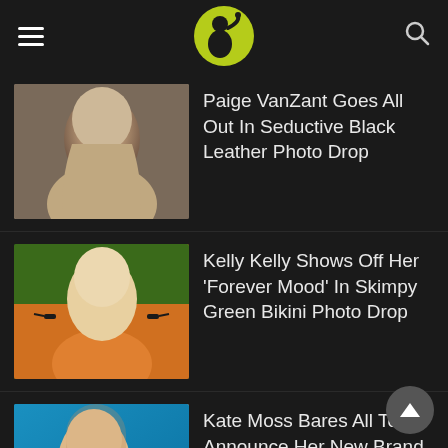[Figure (logo): Website header with hamburger menu, circular lime-green logo with person drinking, and search icon on dark background]
Paige VanZant Goes All Out In Seductive Black Leather Photo Drop
Kelly Kelly Shows Off Her ‘Forever Mood’ In Skimpy Green Bikini Photo Drop
Kate Moss Bares All To Announce Her New Brand